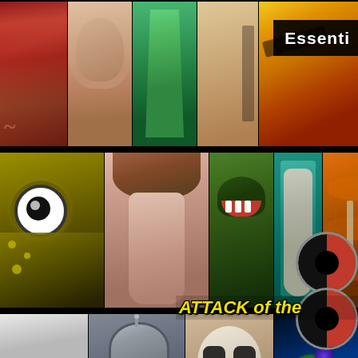[Figure (illustration): Top strip: collage of pulp fiction / exploitation art book covers showing various painted figures including a woman in red, close-up faces, figures in green dress, dramatic scenes; with 'Essenti' text label in black box at top right]
Essenti
[Figure (illustration): Middle strip: collage of monster and creature art including a large-eyed green monster face, nude woman figure, green monster, mermaid in tank, snake creature, Creature from the Black Lagoon, woman with insects, tropical scene; overlaid with 'ATTACK of the' text in yellow italic at bottom]
ATTACK of the
[Figure (photo): Bottom strip: collage of black-and-white and color sci-fi/horror imagery including a woman's face with headband (B&W), a metallic robot (Robby the Robot style), a skull face, colorful sci-fi scene with glowing orbs, and a shadowy creature face; with circle logo at right]